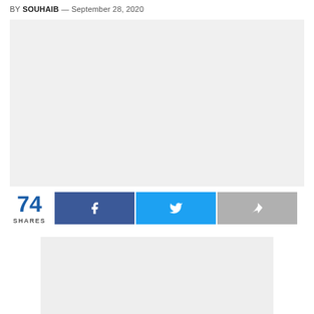BY SOUHAIB — September 28, 2020
[Figure (other): Large light gray placeholder image block at top of article]
74 SHARES
[Figure (other): Social share buttons: Facebook, Twitter, and generic share (gray)]
[Figure (other): Smaller light gray placeholder image block at bottom of page]